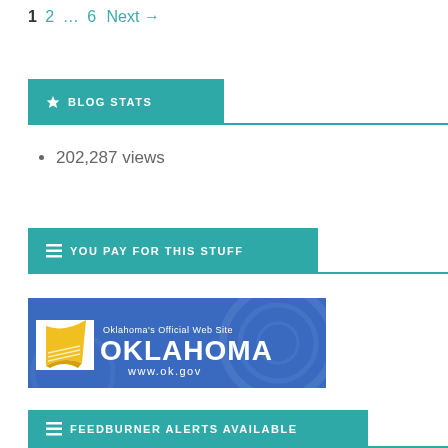1  2  …  6  Next →
BLOG STATS
202,287 views
YOU PAY FOR THIS STUFF
[Figure (logo): Oklahoma's Official Web Site — OKLAHOMA www.ok.gov banner image in blue with yellow quill logo]
FEEDBURNER ALERTS AVAILABLE